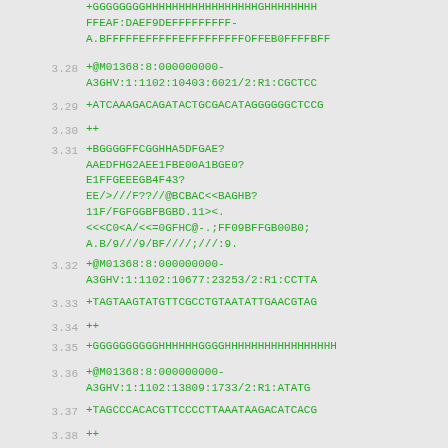+GGGGGGGGHHHHHHHHHHHHHHHHHGHHHHHHHFFEAF:DAEF9DEFFFFFFFFF-A.BFFFFFEFFFFFEFFFFFFFFFOFFEB0FFFFBFF
3.28  +@M01368:8:000000000-A3GHV:1:1102:10403:6021/2:R1:CGCTCC
3.29  +ATCAAAGACAGATACTGCGACATAGGGGGGCTCCC
3.30  ++
3.31  +BGGGGFFCGGHHA5DFGAE?AAEDFHG2AEE1FBE00A1BGE0?E1FFGEEEGB4F43?EE/>///F??//@BCBAC<<BAGHB?11F/FGFGGBFBGBD.11><.<<<C0<A/<<=0GFHC@-.;FF09BFFGB00B0;A.B/9///9/BF////;///:9.
3.32  +@M01368:8:000000000-A3GHV:1:1102:10677:23253/2:R1:CCTTA
3.33  +TAGTAAGTATGTTCGCCTGTAATATTGAACGTAG
3.34  ++
3.35  +GGGGGGGGGGHHHHHHGGGGHHHHHHHHHHHHHHHHH
3.36  +@M01368:8:000000000-A3GHV:1:1102:13809:1733/2:R1:ATATG
3.37  +TAGCCCACACGTTCCCCTTAAATAAGACATCACC
3.38  ++